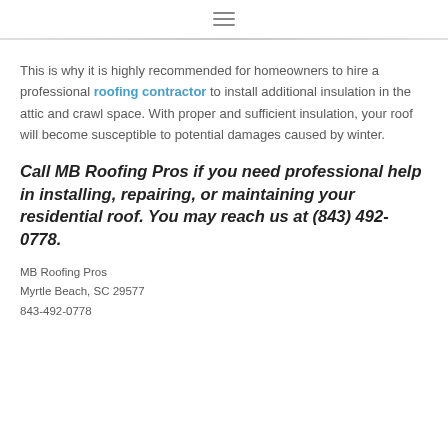≡
This is why it is highly recommended for homeowners to hire a professional roofing contractor to install additional insulation in the attic and crawl space. With proper and sufficient insulation, your roof will become susceptible to potential damages caused by winter.
Call MB Roofing Pros if you need professional help in installing, repairing, or maintaining your residential roof. You may reach us at (843) 492-0778.
MB Roofing Pros
Myrtle Beach, SC 29577
843-492-0778